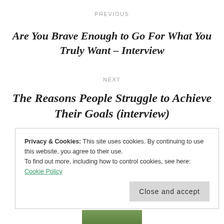PREVIOUS
Are You Brave Enough to Go For What You Truly Want – Interview
NEXT
The Reasons People Struggle to Achieve Their Goals (interview)
Privacy & Cookies: This site uses cookies. By continuing to use this website, you agree to their use.
To find out more, including how to control cookies, see here:
Cookie Policy
Close and accept